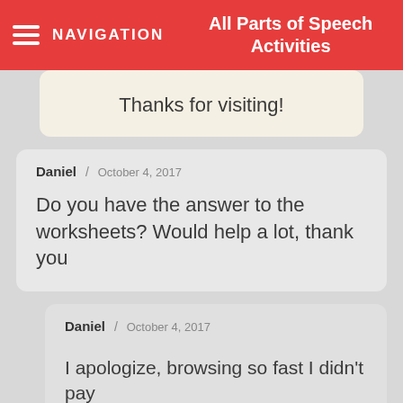NAVIGATION / All Parts of Speech Activities
Thanks for visiting!
Daniel / October 4, 2017
Do you have the answer to the worksheets? Would help a lot, thank you
Daniel / October 4, 2017
I apologize, browsing so fast I didn't pay